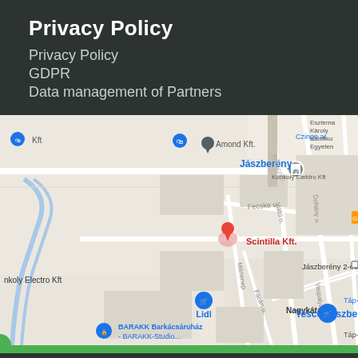Privacy Policy
Privacy Policy
GDPR
Data management of Partners
[Figure (map): Google Maps screenshot showing Jászberény area with markers for Scintilla Kft., Amond Kft., Jászberény 2-es Posta, Lidl, Tesco Jászberény, BARAKK Barkácsáruház - BARAKK-Studio..., Konkoly Electro Kft, and Jászberény transit stop. Streets visible include Fecske u., Váltó u., Dohány u., Nagykátai út, Vaspalya u., Mártenep, Fácán u.]
Copyright 2016 All rights reserved, Budapest